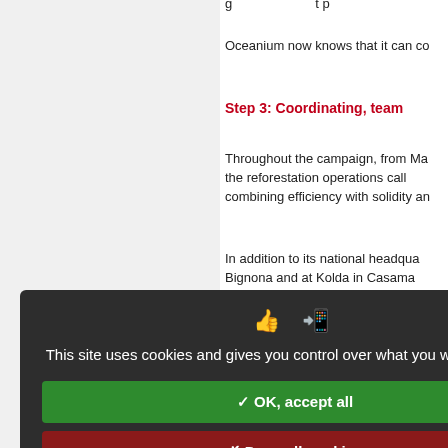Oceanium now knows that it can co
Step 3: Coordinating, team
15   Throughout the campaign, from Ma the reforestation operations call combining efficiency with solidity an
In addition to its national headqua Bignona and at Kolda in Casama various project phases—awareness —occupy about a hundred people.
Step 4: Collecting propagu
The propagules are collected by g where the mangrove is thriving. Of harvest the propagules from the tre sent by truck to the reforestation sit is arduous work, and may impinge therefore pays the collectors (1.5 women to generate income and to n
Step 5: Transporting, sorti
[Figure (screenshot): Cookie consent dialog overlay with dark background. Contains icons, text 'This site uses cookies and gives you control over what you want to activate', a green 'OK, accept all' button, a red 'Deny all cookies' button, a white 'Personalize' button, and a 'Privacy policy' link.]